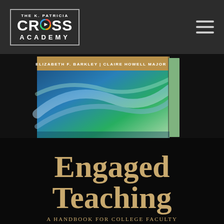[Figure (logo): The K. Patricia Cross Academy logo with colorful circular play-button icon in the letter O of CROSS, white text on dark grey background with border]
[Figure (photo): Book cover of 'Engaged Teaching: A Handbook for College Faculty' by Elizabeth F. Barkley and Claire Howell Major, showing abstract blue-green flowing design with authors' names in a tan banner at top]
Engaged Teaching
A HANDBOOK FOR COLLEGE FACULTY